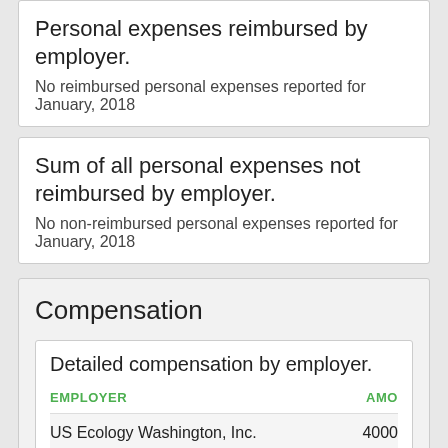Personal expenses reimbursed by employer.
No reimbursed personal expenses reported for January, 2018
Sum of all personal expenses not reimbursed by employer.
No non-reimbursed personal expenses reported for January, 2018
Compensation
Detailed compensation by employer.
| EMPLOYER | AMOUNT |
| --- | --- |
| US Ecology Washington, Inc. | 4000 |
| TRANSALTA USA INC | 5000 |